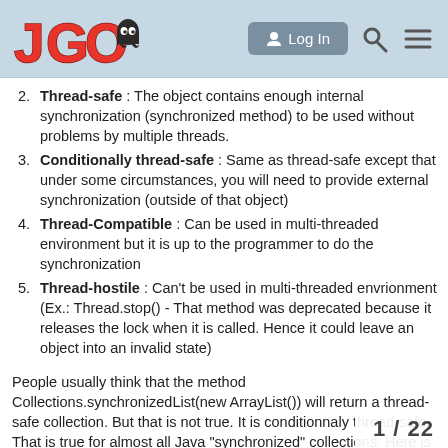JGO — Log In
2. Thread-safe : The object contains enough internal synchronization (synchronized method) to be used without problems by multiple threads.
3. Conditionally thread-safe : Same as thread-safe except that under some circumstances, you will need to provide external synchronization (outside of that object)
4. Thread-Compatible : Can be used in multi-threaded environment but it is up to the programmer to do the synchronization
5. Thread-hostile : Can't be used in multi-threaded envrionment (Ex.: Thread.stop() - That method was deprecated because it releases the lock when it is called. Hence it could leave an object into an invalid state)
People usually think that the method Collections.synchronizedList(new ArrayList()) will return a thread-safe collection. But that is not true. It is conditionnaly thread-safe. That is true for almost all Java "synchronized" collections. Here is a list o
1 / 22